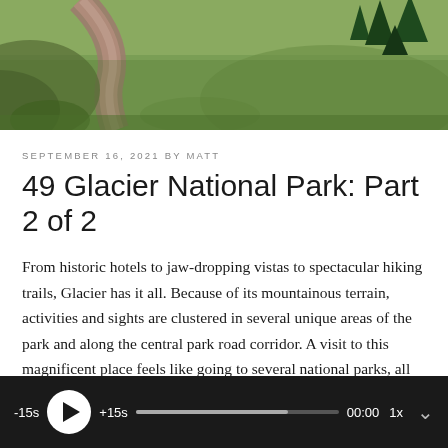[Figure (photo): Aerial or hillside view of a mountain trail winding through green alpine meadow with conifer trees in the upper right and a gravel/dirt path leading through the terrain.]
SEPTEMBER 16, 2021 BY MATT
49 Glacier National Park: Part 2 of 2
From historic hotels to jaw-dropping vistas to spectacular hiking trails, Glacier has it all. Because of its mountainous terrain, activities and sights are clustered in several unique areas of the park and along the central park road corridor. A visit to this magnificent place feels like going to several national parks, all nestled around the Continental Divide...